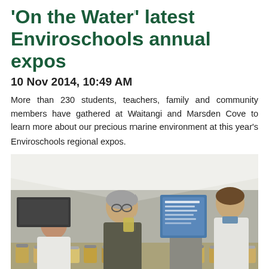‘On the Water’ latest Enviroschools annual expos
10 Nov 2014, 10:49 AM
More than 230 students, teachers, family and community members have gathered at Waitangi and Marsden Cove to learn more about our precious marine environment at this year’s Enviroschools regional expos.
[Figure (photo): Students and adults in white lab coats examining specimens in jars at a table inside a tent at the Enviroschools expo event.]